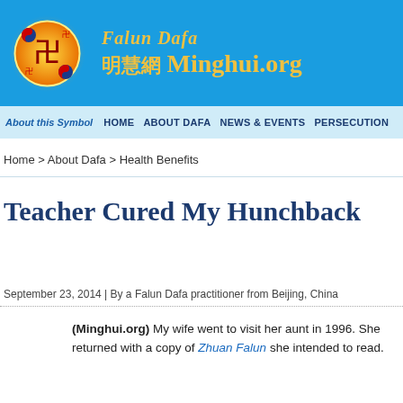[Figure (logo): Falun Dafa / Minghui.org website header banner with logo circle (orange with swastika symbol and yin-yang) and site name in yellow text on blue background]
About this Symbol  HOME  ABOUT DAFA  NEWS & EVENTS  PERSECUTION
Home > About Dafa > Health Benefits
Teacher Cured My Hunchback
September 23, 2014 | By a Falun Dafa practitioner from Beijing, China
(Minghui.org) My wife went to visit her aunt in 1996. She returned with a copy of Zhuan Falun she intended to read.